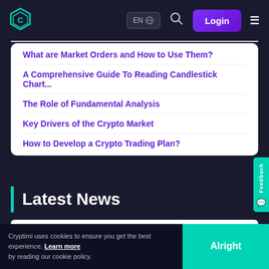Cryptimi — EN Login navigation bar
What are Market Orders and How to Use Them?
A Comprehensive Guide To Reading Candlestick Chart...
The Role of Fundamental Analysis
Key Drivers of the Crypto Market
How to Develop a Crypto Trading Plan?
Latest News
Asia, Cryptocurrency
[Figure (photo): Cryptocurrency news image showing blurred shapes, dark blue and brown tones]
Cryptimi uses cookies to ensure you get the best experience. Learn more by reading our cookie policy.